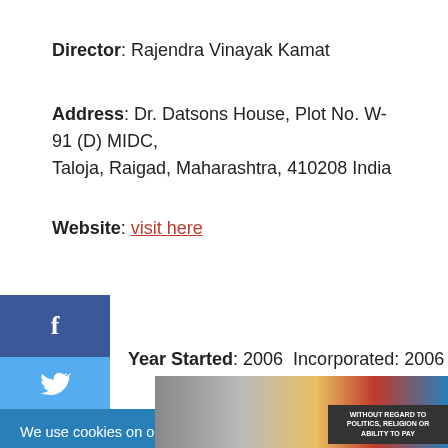Director: Rajendra Vinayak Kamat
Address: Dr. Datsons House, Plot No. W-91 (D) MIDC, Taloja, Raigad, Maharashtra, 410208 India
Website: visit here
Year Started: 2006 Incorporated: 2006
[Figure (screenshot): Facebook and Twitter social media icons on left sidebar]
We use cookies on our website to give you the most relevant experience by remembering your preferences and repeat visits. By clicking "Accept", you consent to the use of ALL the
[Figure (photo): Advertisement image showing an airplane being loaded with cargo, with text 'WITHOUT REGARD TO POLITICS, RELIGION OR ABILITY TO PAY']